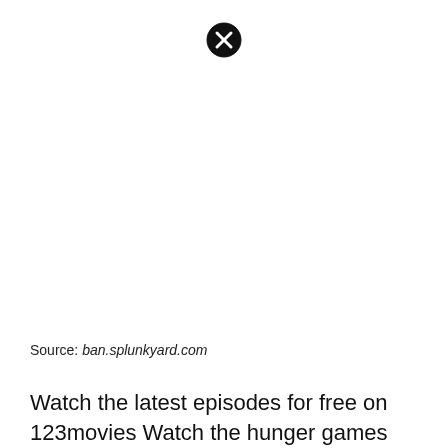[Figure (other): Close/dismiss button icon — black circle with white X, positioned near top center of page]
Source: ban.splunkyard.com
Watch the latest episodes for free on 123movies Watch the hunger games online fr⊗